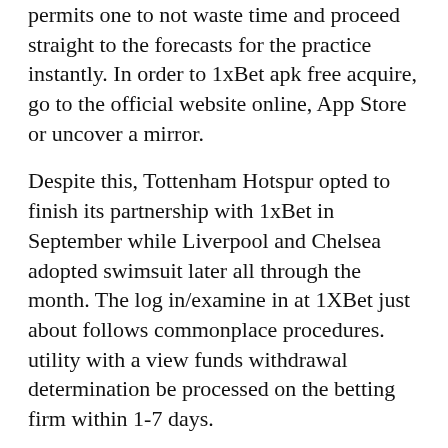permits one to not waste time and proceed straight to the forecasts for the practice instantly. In order to 1xBet apk free acquire, go to the official website online, App Store or uncover a mirror.
Despite this, Tottenham Hotspur opted to finish its partnership with 1xBet in September while Liverpool and Chelsea adopted swimsuit later all through the month. The log in/examine in at 1XBet just about follows commonplace procedures. utility with a view funds withdrawal determination be processed on the betting firm within 1-7 days.
An essential step is to fill out the bank account particulars additionally to place the deposit. It is essential to roll above the bonus cash inside thirty days; in any other case, the system will terminate the bonus, and likewise you received't be capable of put it to use in any respect.
1XBET present a wealth of buyer support selections whatever the place you might be based in the world. Live chat is available 24/7 and that is the most setting friendly to begin to get in contact with the help